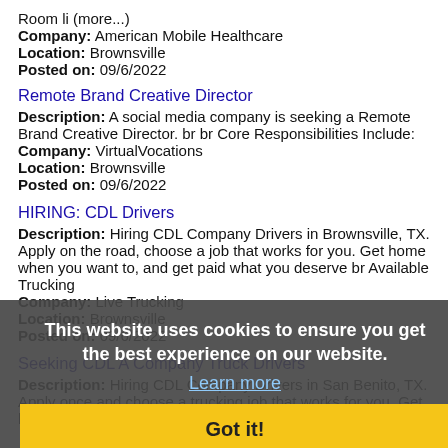Room li (more...)
Company: American Mobile Healthcare
Location: Brownsville
Posted on: 09/6/2022
Remote Brand Creative Director
Description: A social media company is seeking a Remote Brand Creative Director. br br Core Responsibilities Include:
Company: VirtualVocations
Location: Brownsville
Posted on: 09/6/2022
HIRING: CDL Drivers
Description: Hiring CDL Company Drivers in Brownsville, TX. Apply on the road, choose a job that works for you. Get home when you want to, and get paid what you deserve br Available Trucking
Company: Live Trucking
Location: Brownsville
Posted on: 09/6/2022
This website uses cookies to ensure you get the best experience on our website.
Learn more
Got it!
Seeking CDL A Company Truck Drivers
Description: Hiring CDL Company Drivers in San Benito, TX. Apply once and choose a trucking job that works for you. Get home